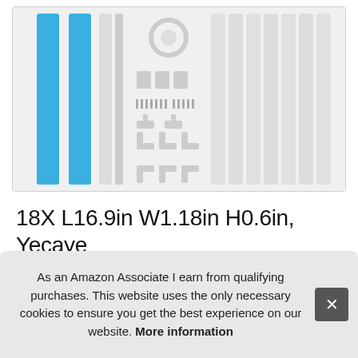[Figure (photo): Product image of a cord cover kit showing blue conduit rails, white channel pieces, connectors, clips, and various white PVC accessories laid out on a light gray background.]
18X L16.9in W1.18in H0.6in, Yecaye 304in Cord Cover Kit, White, Large, PV... on... Ca... Wires on Wall
As an Amazon Associate I earn from qualifying purchases. This website uses the only necessary cookies to ensure you get the best experience on our website. More information